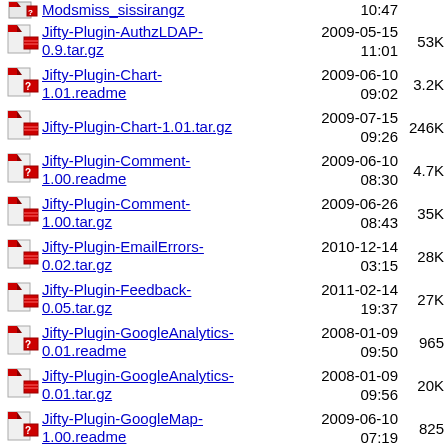Jifty-Plugin-AuthzLDAP-0.9.tar.gz  2009-05-15 11:01  53K
Jifty-Plugin-Chart-1.01.readme  2009-06-10 09:02  3.2K
Jifty-Plugin-Chart-1.01.tar.gz  2009-07-15 09:26  246K
Jifty-Plugin-Comment-1.00.readme  2009-06-10 08:30  4.7K
Jifty-Plugin-Comment-1.00.tar.gz  2009-06-26 08:43  35K
Jifty-Plugin-EmailErrors-0.02.tar.gz  2010-12-14 03:15  28K
Jifty-Plugin-Feedback-0.05.tar.gz  2011-02-14 19:37  27K
Jifty-Plugin-GoogleAnalytics-0.01.readme  2008-01-09 09:50  965
Jifty-Plugin-GoogleAnalytics-0.01.tar.gz  2008-01-09 09:56  20K
Jifty-Plugin-GoogleMap-1.00.readme  2009-06-10 07:19  825
Jifty-Plugin-GoogleMap-1.00.tar.gz  2009-06-11 11:07  23K